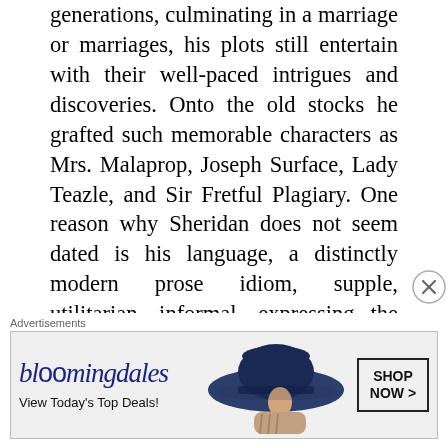generations, culminating in a marriage or marriages, his plots still entertain with their well-paced intrigues and discoveries. Onto the old stocks he grafted such memorable characters as Mrs. Malaprop, Joseph Surface, Lady Teazle, and Sir Fretful Plagiary. One reason why Sheridan does not seem dated is his language, a distinctly modern prose idiom, supple, utilitarian, informal, expressing the hopeful coherence of the early modern era.
Sheridan's achievement is even more impressive when one considers that he
[Figure (other): Bloomingdale's advertisement banner with logo, 'View Today's Top Deals!' text, woman wearing wide-brim hat, and 'SHOP NOW >' button]